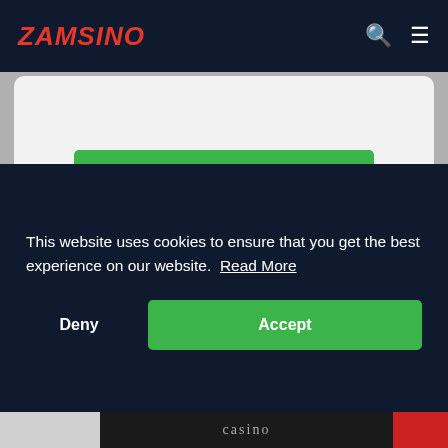ZAMSINO
$1.200 Welcome Package
18+ | Terms & conditions apply. | Captain Spins Casino.
260 bonus spins
$10 Min Deposit
Back of Deal
This website uses cookies to ensure that you get the best experience on our website. Read More
Deny
Accept